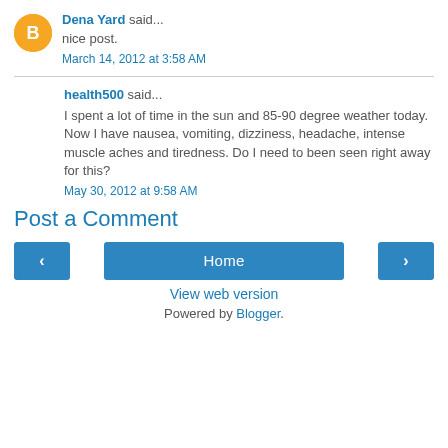Dena Yard said...
nice post.
March 14, 2012 at 3:58 AM
health500 said...
I spent a lot of time in the sun and 85-90 degree weather today. Now I have nausea, vomiting, dizziness, headache, intense muscle aches and tiredness. Do I need to been seen right away for this?
May 30, 2012 at 9:58 AM
Post a Comment
Home
View web version
Powered by Blogger.